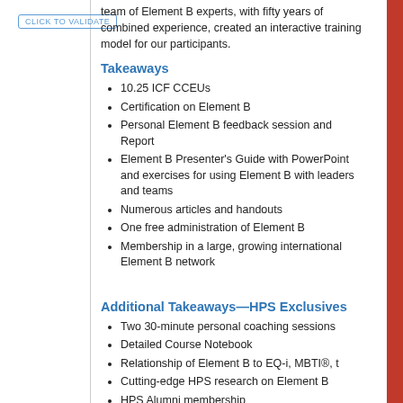[Figure (logo): Click to validate button badge in blue border]
team of Element B experts, with fifty years of combined experience, created an interactive training model for our participants.
Takeaways
10.25 ICF CCEUs
Certification on Element B
Personal Element B feedback session and Report
Element B Presenter's Guide with PowerPoint and exercises for using Element B with leaders and teams
Numerous articles and handouts
One free administration of Element B
Membership in a large, growing international Element B network
Additional Takeaways—HPS Exclusives
Two 30-minute personal coaching sessions
Detailed Course Notebook
Relationship of Element B to EQ-i, MBTI®, t
Cutting-edge HPS research on Element B
HPS Alumni membership
Applications of Element B
HPS trainers share best practices, examples and ca applications, including: